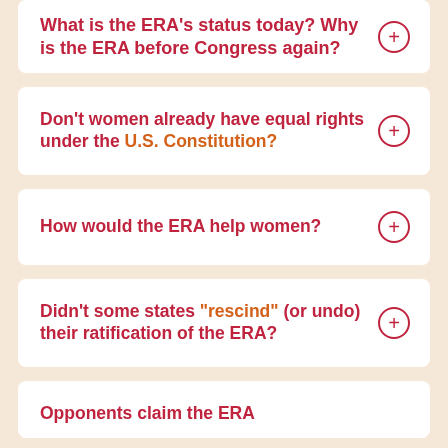What is the ERA's status today? Why is the ERA before Congress again?
Don't women already have equal rights under the U.S. Constitution?
How would the ERA help women?
Didn't some states “rescind” (or undo) their ratification of the ERA?
Opponents claim the ERA